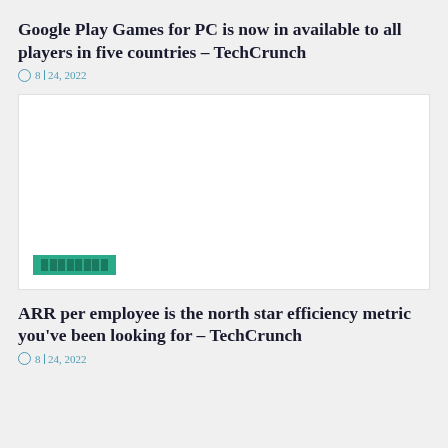Google Play Games for PC is now in available to all players in five countries – TechCrunch
8| 24, 2022
[Figure (screenshot): White image box with a green badge/button showing block characters at the bottom left]
ARR per employee is the north star efficiency metric you've been looking for – TechCrunch
8| 24, 2022